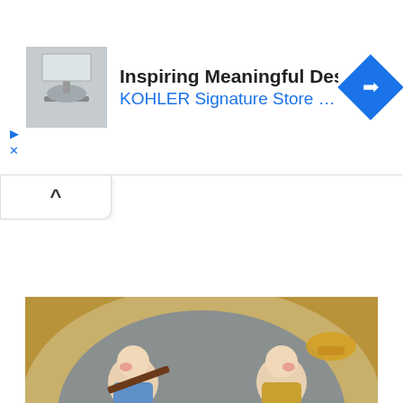[Figure (screenshot): Advertisement banner for KOHLER Signature Store. Contains a thumbnail image of a bathroom sink, bold title text 'Inspiring Meaningful Designs', blue subtitle text 'KOHLER Signature Store by GR...', play and close icons on the left, and a blue diamond-shaped navigation icon on the right.]
[Figure (screenshot): A collapse/minimize tab button with an upward-pointing caret (^) symbol, shown as a rounded white tab below the ad banner.]
[Figure (illustration): Partial view of a painting showing stylized children playing musical instruments including a flute/recorder and what appears to be a cymbal or horn, painted in warm golden-brown and muted blue-gray tones.]